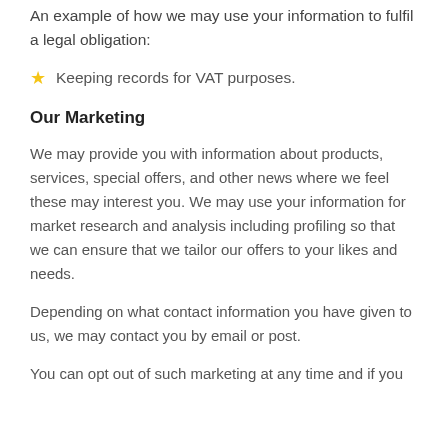An example of how we may use your information to fulfil a legal obligation:
Keeping records for VAT purposes.
Our Marketing
We may provide you with information about products, services, special offers, and other news where we feel these may interest you. We may use your information for market research and analysis including profiling so that we can ensure that we tailor our offers to your likes and needs.
Depending on what contact information you have given to us, we may contact you by email or post.
You can opt out of such marketing at any time and if you